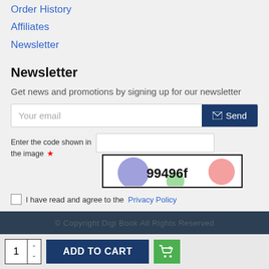Order History
Affiliates
Newsletter
Newsletter
Get news and promotions by signing up for our newsletter
[Figure (screenshot): Email input field with placeholder 'Your email' and a dark blue Send button with envelope icon]
Enter the code shown in the image
[Figure (screenshot): CAPTCHA image showing colorful circles with text '99496f']
I have read and agree to the Privacy Policy
© Copyright Digi Book All Rights Reserved
[Figure (screenshot): Bottom bar with quantity selector showing 1, ADD TO CART button, and green cart icon button]